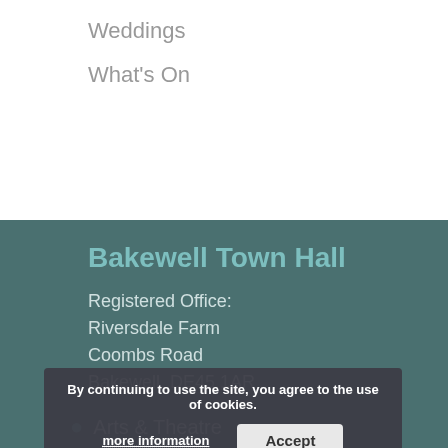Weddings
What's On
Bakewell Town Hall
Registered Office:
Riversdale Farm
Coombs Road
Bakewell, DE45 1AR
Charity Registration No: 1113707
A Company Limited by Guarantee Registered in
England and Wales Registration No: 5687413
By continuing to use the site, you agree to the use of cookies.
more information
Accept
Arts & Theatre